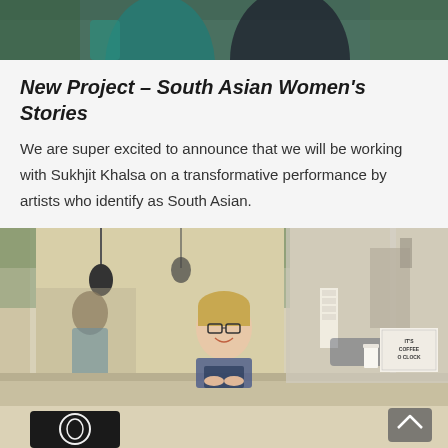[Figure (photo): Cropped photo of people (partial torsos visible), appears to be outdoors. Top portion of a portrait photo.]
New Project – South Asian Women's Stories
We are super excited to announce that we will be working with Sukhjit Khalsa on a transformative performance by artists who identify as South Asian.
[Figure (photo): Photo of a smiling woman with short blonde hair and glasses leaning on a counter at what appears to be a café or coffee shop counter. In the background another person is visible. A sign reads 'IT'S COFFEE O CLOCK'. The café has pendant lights and large windows.]